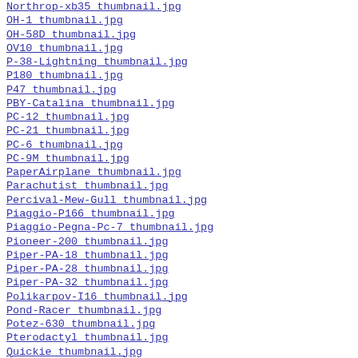Northrop-xb35 thumbnail.jpg
OH-1 thumbnail.jpg
OH-58D thumbnail.jpg
OV10 thumbnail.jpg
P-38-Lightning thumbnail.jpg
P180 thumbnail.jpg
P47 thumbnail.jpg
PBY-Catalina thumbnail.jpg
PC-12 thumbnail.jpg
PC-21 thumbnail.jpg
PC-6 thumbnail.jpg
PC-9M thumbnail.jpg
PaperAirplane thumbnail.jpg
Parachutist thumbnail.jpg
Percival-Mew-Gull thumbnail.jpg
Piaggio-P166 thumbnail.jpg
Piaggio-Pegna-Pc-7 thumbnail.jpg
Pioneer-200 thumbnail.jpg
Piper-PA-18 thumbnail.jpg
Piper-PA-28 thumbnail.jpg
Piper-PA-32 thumbnail.jpg
Polikarpov-I16 thumbnail.jpg
Pond-Racer thumbnail.jpg
Potez-630 thumbnail.jpg
Pterodactyl thumbnail.jpg
Quickie thumbnail.jpg
R22 thumbnail.jpg
R44 thumbnail.jpg
RAF-S-E-5 thumbnail.jpg
RV-6A thumbnail.jpg